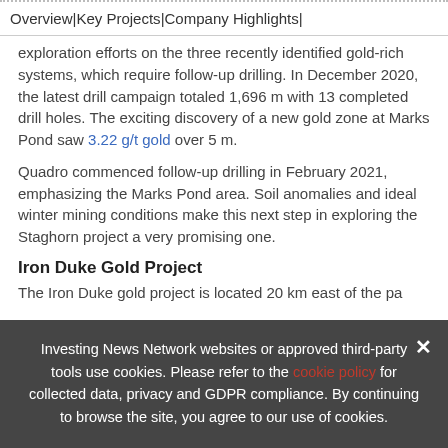Overview | Key Projects | Company Highlights |
exploration efforts on the three recently identified gold-rich systems, which require follow-up drilling. In December 2020, the latest drill campaign totaled 1,696 m with 13 completed drill holes. The exciting discovery of a new gold zone at Marks Pond saw 3.22 g/t gold over 5 m.
Quadro commenced follow-up drilling in February 2021, emphasizing the Marks Pond area. Soil anomalies and ideal winter mining conditions make this next step in exploring the Staghorn project a very promising one.
Iron Duke Gold Project
The Iron Duke gold project is located 20 km east of the pa
Investing News Network websites or approved third-party tools use cookies. Please refer to the cookie policy for collected data, privacy and GDPR compliance. By continuing to browse the site, you agree to our use of cookies.